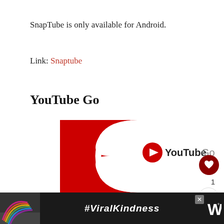SnapTube is only available for Android.
Link: Snaptube
YouTube Go
[Figure (logo): YouTube Go logo with red swoosh background and YouTube Go text with play button icon]
[Figure (infographic): Ad banner with rainbow illustration and #ViralKindness hashtag text on dark background]